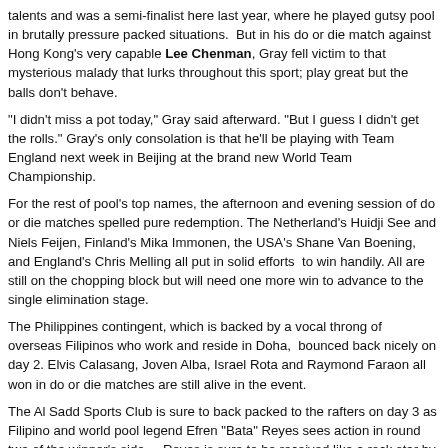talents and was a semi-finalist here last year, where he played gutsy pool in brutally pressure packed situations.  But in his do or die match against Hong Kong's very capable Lee Chenman, Gray fell victim to that mysterious malady that lurks throughout this sport; play great but the balls don't behave.
"I didn't miss a pot today," Gray said afterward. "But I guess I didn't get the rolls." Gray's only consolation is that he'll be playing with Team England next week in Beijing at the brand new World Team Championship.
For the rest of pool's top names, the afternoon and evening session of do or die matches spelled pure redemption. The Netherland's Huidji See and Niels Feijen, Finland's Mika Immonen, the USA's Shane Van Boening, and England's Chris Melling all put in solid efforts  to win handily. All are still on the chopping block but will need one more win to advance to the single elimination stage.
The Philippines contingent, which is backed by a vocal throng of overseas Filipinos who work and reside in Doha,  bounced back nicely on day 2. Elvis Calasang, Joven Alba, Israel Rota and Raymond Faraon all won in do or die matches are still alive in the event.
The Al Sadd Sports Club is sure to back packed to the rafters on day 3 as Filipino and world pool legend Efren "Bata" Reyes sees action in round two of the winner's side.   Reyes is sure to be received like a rock star by his fellow Filipinos.